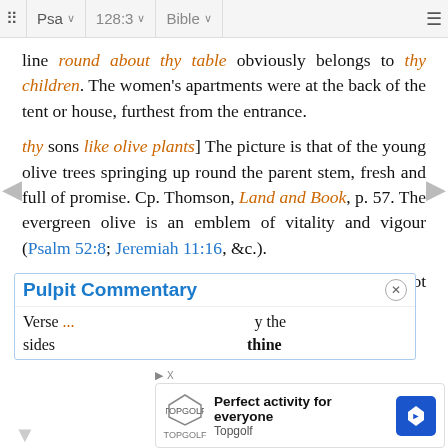⠿ Psa ∨  128:3 ∨  Bible ∨  ≡
line round about thy table obviously belongs to thy children. The women's apartments were at the back of the tent or house, furthest from the entrance.
thy sons like olive plants] The picture is that of the young olive trees springing up round the parent stem, fresh and full of promise. Cp. Thomson, Land and Book, p. 57. The evergreen olive is an emblem of vitality and vigour (Psalm 52:8; Jeremiah 11:16, &c.).
round about thy table] Cp. 1 Samuel 16:11, “We will not sit round till he come hither.”
Pulpit Commentary
Verse ... y the sides ... thine
[Figure (screenshot): Topgolf advertisement overlay showing 'Perfect activity for everyone' with Topgolf logo and blue map pin CTA button]